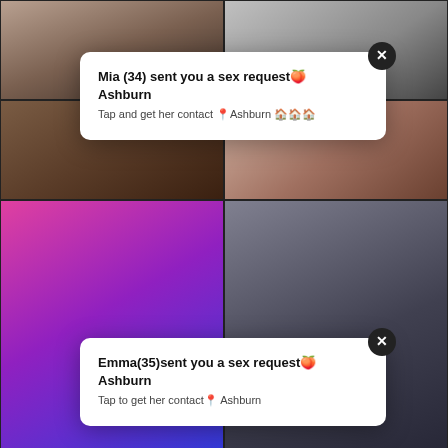[Figure (screenshot): Video thumbnail grid with two notification popups overlaid. Top row: two adult video thumbnails. Second row: two adult video thumbnails. Third-fourth row: 'Slutty Big Titted BFFs Went On Streets' (2021-08-21, 28:36) and 'Black cock toilet Prostitution Sting takes' (2021-08-28, 5:00 MILF). Bottom row: two more adult video thumbnails. Two white notification popup cards overlay the thumbnails: (1) 'Mia (34) sent you a sex request Ashburn / Tap and get her contact Ashburn' and (2) 'Emma(35)sent you a sex request Ashburn / Tap to get her contact Ashburn'.]